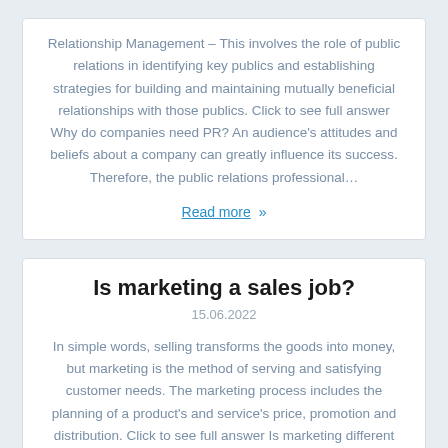Relationship Management – This involves the role of public relations in identifying key publics and establishing strategies for building and maintaining mutually beneficial relationships with those publics. Click to see full answer Why do companies need PR? An audience's attitudes and beliefs about a company can greatly influence its success. Therefore, the public relations professional…
Read more »
Is marketing a sales job?
15.06.2022
In simple words, selling transforms the goods into money, but marketing is the method of serving and satisfying customer needs. The marketing process includes the planning of a product's and service's price, promotion and distribution. Click to see full answer Is marketing different from sales? In the